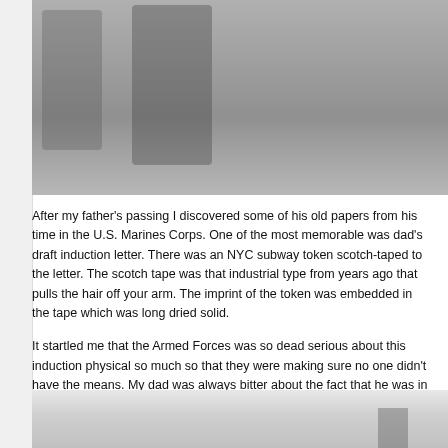[Figure (photo): Black and white photograph showing people in military or casual clothing, partial view cropped at top]
After my father’s passing I discovered some of his old papers from his time in the U.S. Marines Corps. One of the most memorable was dad’s draft induction letter. There was an NYC subway token scotch-taped to the letter. The scotch tape was that industrial type from years ago that pulls the hair off your arm. The imprint of the token was embedded in the tape which was long dried solid.
It startled me that the Armed Forces was so dead serious about this induction physical so much so that they were making sure no one didn’t have the means. My dad was always bitter about the fact that he was in college at the time and there were plenty of people cutting corners or hiding behind their parents’ wealth that could avoid the draft that the Army provided.
[Figure (photo): Black and white photograph, partial view at bottom of page, light colored background with some objects visible]